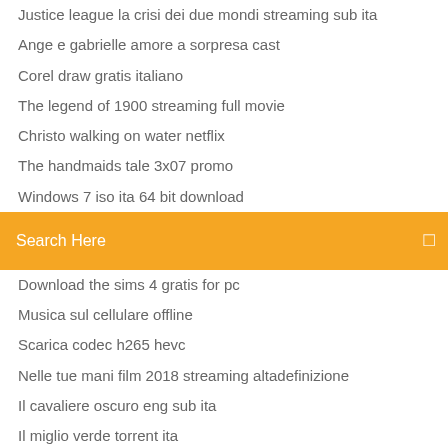Justice league la crisi dei due mondi streaming sub ita
Ange e gabrielle amore a sorpresa cast
Corel draw gratis italiano
The legend of 1900 streaming full movie
Christo walking on water netflix
The handmaids tale 3x07 promo
Windows 7 iso ita 64 bit download
Search Here
Download the sims 4 gratis for pc
Musica sul cellulare offline
Scarica codec h265 hevc
Nelle tue mani film 2018 streaming altadefinizione
Il cavaliere oscuro eng sub ita
Il miglio verde torrent ita
Scaricare rubrica iphone su gmail
Microsoft office crack
The avengers streaming filmsenzalimiti
Maria maddalena film streaming italiano